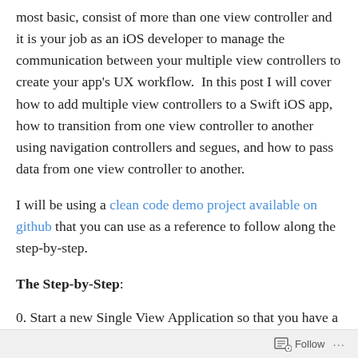most basic, consist of more than one view controller and it is your job as an iOS developer to manage the communication between your multiple view controllers to create your app's UX workflow.  In this post I will cover how to add multiple view controllers to a Swift iOS app, how to transition from one view controller to another using navigation controllers and segues, and how to pass data from one view controller to another.
I will be using a clean code demo project available on github that you can use as a reference to follow along the step-by-step.
The Step-by-Step:
0. Start a new Single View Application so that you have a
Follow ···